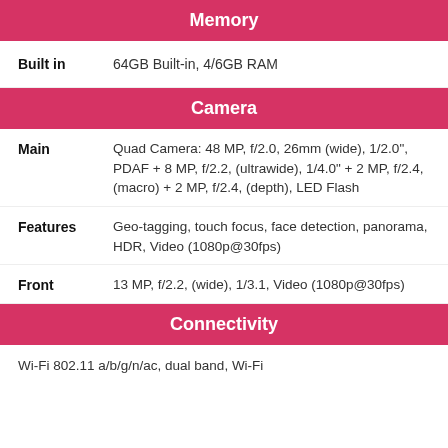Memory
Built in: 64GB Built-in, 4/6GB RAM
Camera
Main: Quad Camera: 48 MP, f/2.0, 26mm (wide), 1/2.0", PDAF + 8 MP, f/2.2, (ultrawide), 1/4.0" + 2 MP, f/2.4, (macro) + 2 MP, f/2.4, (depth), LED Flash
Features: Geo-tagging, touch focus, face detection, panorama, HDR, Video (1080p@30fps)
Front: 13 MP, f/2.2, (wide), 1/3.1, Video (1080p@30fps)
Connectivity
Wi-Fi 802.11 a/b/g/n/ac, dual band, Wi-Fi